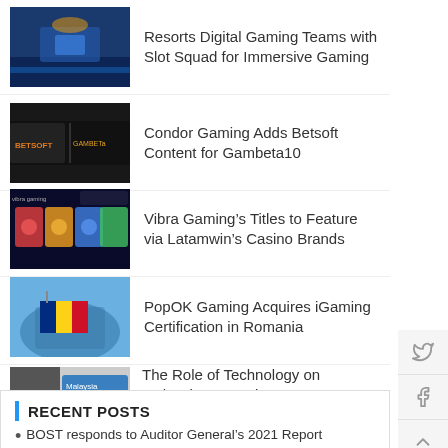Resorts Digital Gaming Teams with Slot Squad for Immersive Gaming
Condor Gaming Adds Betsoft Content for Gambeta10
Vibra Gaming’s Titles to Feature via Latamwin’s Casino Brands
PopOK Gaming Acquires iGaming Certification in Romania
The Role of Technology on Malaysia’s Booming Gaming Market
Relax Gaming to Power iGaming Content for bet365
RECENT POSTS
BOST responds to Auditor General’s 2021 Report